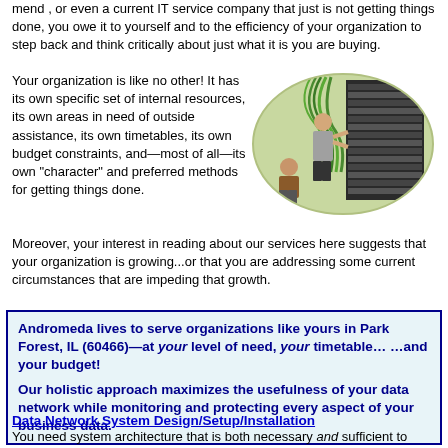mend , or even a current IT service company that just is not getting things done, you owe it to yourself and to the efficiency of your organization to step back and think critically about just what it is you are buying.
Your organization is like no other! It has its own specific set of internal resources, its own areas in need of outside assistance, its own timetables, its own budget constraints, and—most of all—its own "character" and preferred methods for getting things done.
[Figure (photo): Two IT professionals working with server racks and network cables in a data center.]
Moreover, your interest in reading about our services here suggests that your organization is growing...or that you are addressing some current circumstances that are impeding that growth.
Andromeda lives to serve organizations like yours in Park Forest, IL (60466)—at your level of need, your timetable… …and your budget!

Our holistic approach maximizes the usefulness of your data network while monitoring and protecting every aspect of your business data.
Data Network System Design/Setup/Installation
You need system architecture that is both necessary and sufficient to